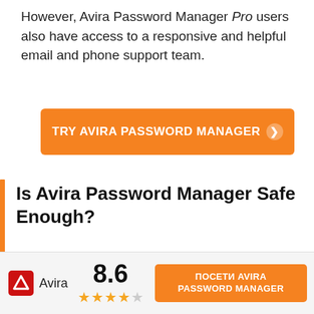However, Avira Password Manager Pro users also have access to a responsive and helpful email and phone support team.
[Figure (other): Orange CTA button reading TRY AVIRA PASSWORD MANAGER with arrow icon]
Is Avira Password Manager Safe Enough?
Yes, Avira Password Manager is safe enough for most users. Avira uses both high-level encryption and additional security precautions like two-step verification to ensure user data is properly secured.
[Figure (other): Footer bar with Avira logo, brand name, score 8.6, 4 gold stars and 1 grey star, and orange button reading ПОСЕТИ AVIRA PASSWORD MANAGER]